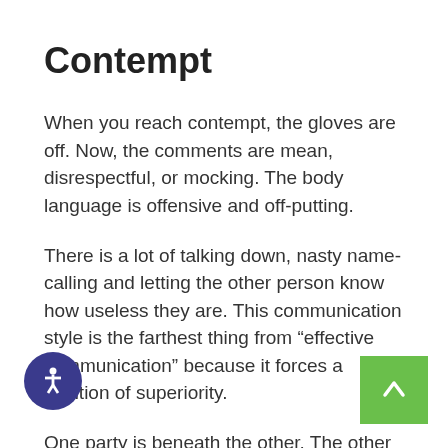Contempt
When you reach contempt, the gloves are off. Now, the comments are mean, disrespectful, or mocking. The body language is offensive and off-putting.
There is a lot of talking down, nasty name-calling and letting the other person know how useless they are. This communication style is the farthest thing from “effective communication” because it forces a position of superiority.
One party is beneath the other. The other person feels worthless because these words go beyond criticism.
And it’s all usually fueled by negative thoughts that